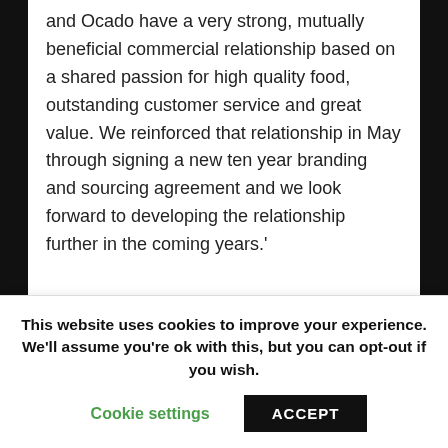and Ocado have a very strong, mutually beneficial commercial relationship based on a shared passion for high quality food, outstanding customer service and great value. We reinforced that relationship in May through signing a new ten year branding and sourcing agreement and we look forward to developing the relationship further in the coming years.'
* In April, Liza Helps, Logistics Manager's contributing editor, property, reported that Ocado had short listed five sites for its new 400,000 sq ft bespoke RDC including JM Properties Birch...
This website uses cookies to improve your experience. We'll assume you're ok with this, but you can opt-out if you wish.